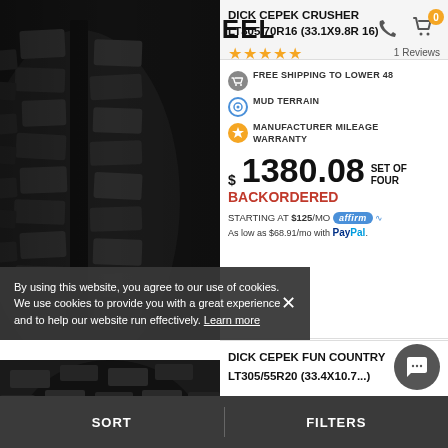WHEEL
DICK CEPEK CRUSHER LT305/70R16 (33.1X9.8R 16)
★★★★★  1 Reviews
FREE SHIPPING TO LOWER 48
MUD TERRAIN
MANUFACTURER MILEAGE WARRANTY
$1380.08 SET OF FOUR
BACKORDERED
STARTING AT $125/MO affirm
As low as $68.91/mo with PayPal.
[Figure (photo): Close-up photo of a Dick Cepek Crusher mud terrain tire tread pattern, dark background]
By using this website, you agree to our use of cookies. We use cookies to provide you with a great experience and to help our website run effectively. Learn more
DICK CEPEK FUN COUNTRY LT305/55R20 (33.4X10.7...)
[Figure (photo): Partial view of a second tire at the bottom of the page]
SORT    FILTERS